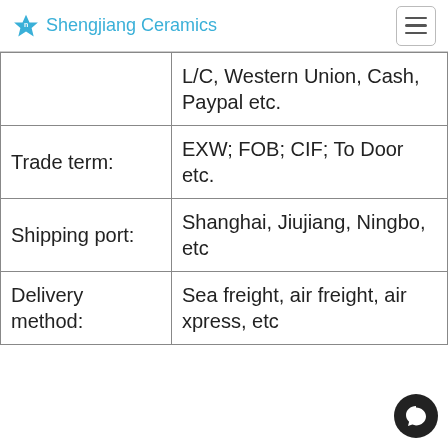Shengjiang Ceramics
|  | L/C, Western Union, Cash, Paypal etc. |
| Trade term: | EXW; FOB; CIF; To Door etc. |
| Shipping port: | Shanghai, Jiujiang, Ningbo, etc |
| Delivery method: | Sea freight, air freight, air xpress, etc |